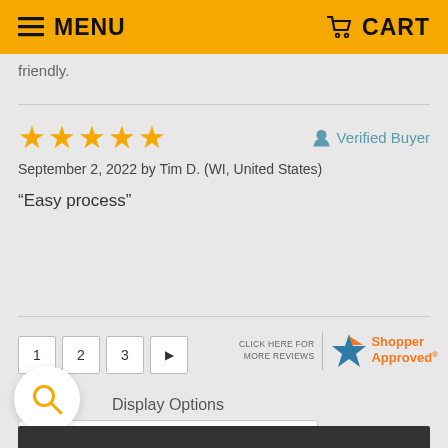MENU | CART
friendly.
★★★★★ Verified Buyer
September 2, 2022 by Tim D. (WI, United States)
"Easy process"
1 2 3 ▶
[Figure (logo): Shopper Approved logo with star icon and text 'CLICK HERE FOR MORE REVIEWS']
Display Options
Highest to Lowest